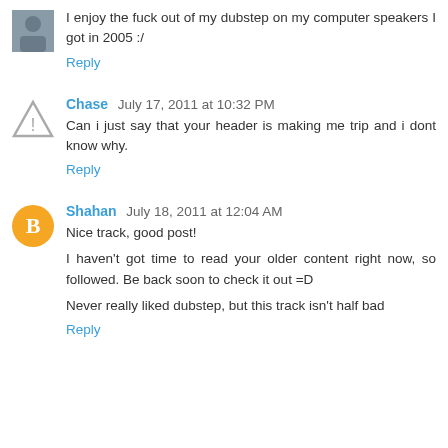I enjoy the fuck out of my dubstep on my computer speakers I got in 2005 :/
Reply
Chase  July 17, 2011 at 10:32 PM
Can i just say that your header is making me trip and i dont know why.
Reply
Shahan  July 18, 2011 at 12:04 AM
Nice track, good post!
I haven't got time to read your older content right now, so followed. Be back soon to check it out =D
Never really liked dubstep, but this track isn't half bad
Reply